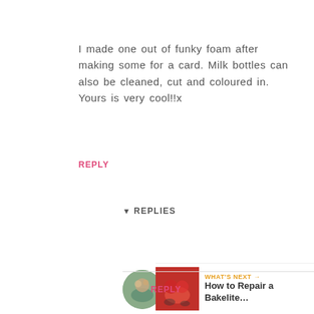I made one out of funky foam after making some for a card. Milk bottles can also be cleaned, cut and coloured in. Yours is very cool!!x
REPLY
▾ REPLIES
BRITTANY_VA-VOOMVINTAGE
MARCH 22, 2016 AT 2:43 PM
Great ideas, thank you for sharing!
REPLY